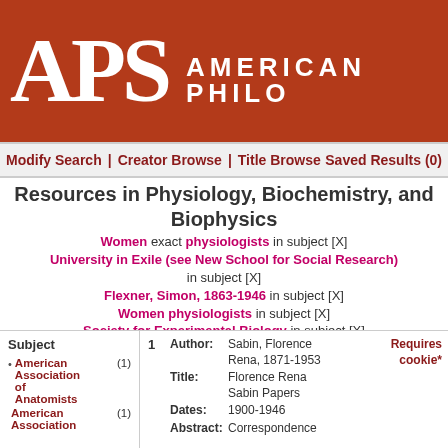[Figure (logo): APS American Philosophical Society logo on red/brown background]
Modify Search | Creator Browse | Title Browse   Saved Results (0)
Resources in Physiology, Biochemistry, and Biophysics
Women exact physiologists in subject [X] University in Exile (see New School for Social Research) in subject [X] Flexner, Simon, 1863-1946 in subject [X] Women physiologists in subject [X] Society for Experimental Biology in subject [X]
Sorted by: relevance  Go!   Results: 1 Item  Page: 1
Subject
American Association of Anatomists (1)
American Association (1)
|  | Author: | Title: | Dates: | Abstract: |
| --- | --- | --- | --- | --- |
| 1 | Sabin, Florence Rena, 1871-1953  Requires cookie* | Florence Rena Sabin Papers | 1900-1946 | Correspondence |